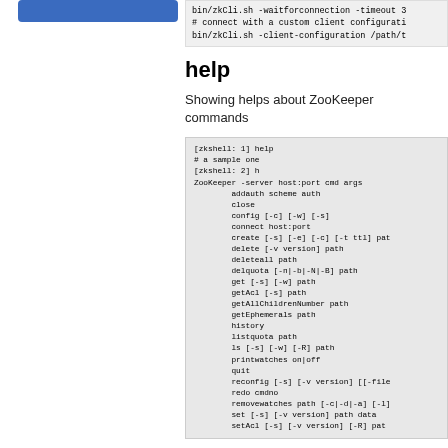bin/zkCli.sh -waitforconnection -timeout 3
# connect with a custom client configuration
bin/zkCli.sh -client-configuration /path/t
help
Showing helps about ZooKeeper commands
[zkshell: 1] help
# a sample one
[zkshell: 2] h
ZooKeeper -server host:port cmd args
        addauth scheme auth
        close
        config [-c] [-w] [-s]
        connect host:port
        create [-s] [-e] [-c] [-t ttl] pat
        delete [-v version] path
        deleteall path
        delquota [-n|-b|-N|-B] path
        get [-s] [-w] path
        getAcl [-s] path
        getAllChildrenNumber path
        getEphemerals path
        history
        listquota path
        ls [-s] [-w] [-R] path
        printwatches on|off
        quit
        reconfig [-s] [-v version] [[-file
        redo cmdno
        removewatches path [-c|-d|-a] [-l]
        set [-s] [-v version] path data
        setAcl [-s] [-v version] [-R] pat